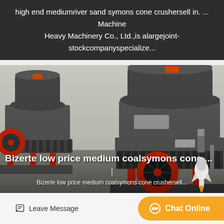high end mediumriver sand symons cone crushersell in. ... Machine Heavy Machinery Co., Ltd.,is alargejoint-stockcompanyspecialize...
[Figure (photo): Industrial symons cone crusher machines in a warehouse/factory setting. Two large dark grey cone crushers with red accents (springs, pulleys, support legs) visible. Machines have distinctive conical top sections with ribbed spring bases and large red flywheel/pulley wheels on the sides.]
Bizerte low price medium coalsymons cone ...
Bizerte low price medium coalsymons cone crushersell...
DjerbaTunisia Africasmall cementkilnsellat a loss.BizerteTunisa...